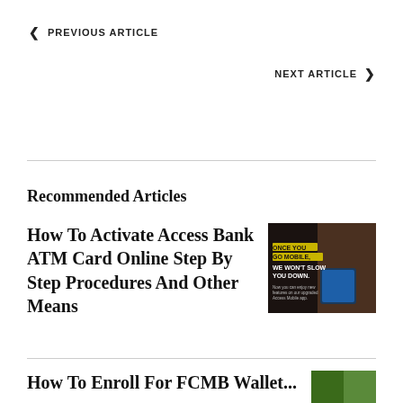< PREVIOUS ARTICLE
NEXT ARTICLE >
Recommended Articles
How To Activate Access Bank ATM Card Online Step By Step Procedures And Other Means
[Figure (photo): Advertisement image with text: ONCE YOU GO MOBILE WE WON'T SLOW YOU DOWN. When you can enjoy new features on our upgraded Access Mobile app.]
How To Enroll For FCMB Wallet...